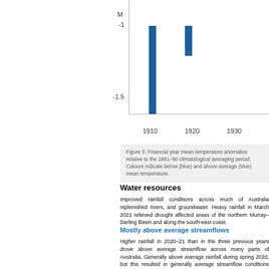[Figure (continuous-plot): Partial bar chart showing financial year mean temperature anomalies. Y-axis shows values around -1 to -1.5. X-axis shows years from 1910 to 1950+. Blue bars are visible around 1915-1917 and 1920, showing below average mean temperature.]
Figure 5: Financial year mean temperature anomalies relative to the 1961–90 climatological averaging period. Colours indicate below (blue) and above average (blue) mean temperature.
Water resources
Improved rainfall conditions across much of Australia replenished rivers, and groundwater. Heavy rainfall in March 2021 relieved drought affected areas of the northern Murray–Darling Basin and along the south-east coast.
Mostly above average streamflows
Higher rainfall in 2020–21 than in the three previous years drove above average streamflow across many parts of Australia. Generally above average rainfall during spring 2020, but this resulted in generally average streamflow conditions through the northern MDB in late March 2021 resulted in above average flows in catchments near the New South Wales floodwaters from the March rainfall made...